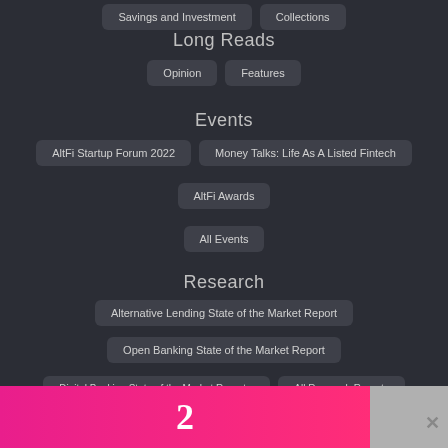Savings and Investment
Collections
Long Reads
Opinion
Features
Events
AltFi Startup Forum 2022
Money Talks: Life As A Listed Fintech
AltFi Awards
All Events
Research
Alternative Lending State of the Market Report
Open Banking State of the Market Report
Digital Banking State of the Market Report...
All Research Reports
[Figure (infographic): Pink/magenta gradient advertisement banner with a stylized number 2 in white, with a close (x) button on the right side on a gray background.]